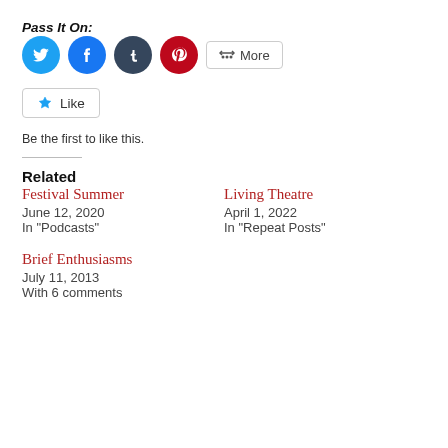Pass It On:
[Figure (illustration): Social sharing icons: Twitter (blue circle), Facebook (blue circle), Tumblr (dark circle), Pinterest (red circle), and a More button]
[Figure (illustration): Like button with star icon]
Be the first to like this.
Related
Festival Summer
June 12, 2020
In "Podcasts"
Living Theatre
April 1, 2022
In "Repeat Posts"
Brief Enthusiasms
July 11, 2013
With 6 comments